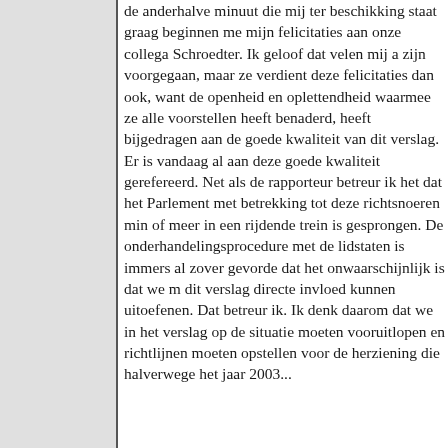de anderhalve minuut die mij ter beschikking staat graag beginnen met mijn felicitaties aan onze collega Schroedter. Ik geloof dat velen mij zijn voorgegaan, maar ze verdient deze felicitaties dan ook, want de openheid en oplettendheid waarmee ze alle voorstellen heeft benaderd, heeft bijgedragen aan de goede kwaliteit van dit verslag. Er is vandaag al aan deze goede kwaliteit gerefereerd. Net als de rapporteur betreur ik het dat het Parlement met betrekking tot deze richtsnoeren min of meer in een rijdende trein is gesprongen. De onderhandelingsprocedure met de lidstaten is immers al zover gevorderd dat het onwaarschijnlijk is dat we met dit verslag directe invloed kunnen uitoefenen. Dat betreur ik. Ik denk daarom dat we in het verslag op de situatie moeten vooruitlopen en richtlijnen moeten opstellen voor de herziening die halverwege het jaar 2003...